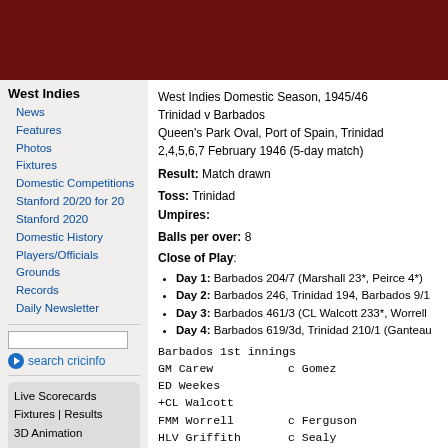[Figure (other): Dark red/maroon header banner for the Cricinfo website]
West Indies
News
Features
Photos
Fixtures
Domestic Competitions
Stanford 20/20 for 20
Stanford 2020
Domestic History
Players/Officials
Grounds
Records
Daily Newsletter
search cricinfo
Live Scorecards
Fixtures | Results
3D Animation
Country Sites
The Ashes
West Indies Domestic Season, 1945/46
Trinidad v Barbados
Queen's Park Oval, Port of Spain, Trinidad
2,4,5,6,7 February 1946 (5-day match)
Result: Match drawn
Toss: Trinidad
Umpires:
Balls per over: 8
Close of Play:
Day 1: Barbados 204/7 (Marshall 23*, Peirce 4*)
Day 2: Barbados 246, Trinidad 194, Barbados 9/1
Day 3: Barbados 461/3 (CL Walcott 233*, Worrell
Day 4: Barbados 619/3d, Trinidad 210/1 (Ganteau
Barbados 1st innings
GM Carew        c Gomez
ED Weekes
+CL Walcott
FMM Worrell     c Ferguson
HLV Griffith    c Sealy
JH Lucas